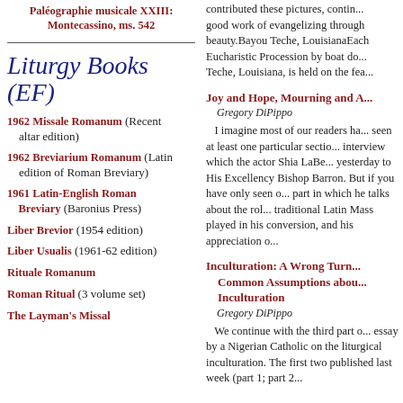Paléographie musicale XXIII: Montecassino, ms. 542
Liturgy Books (EF)
1962 Missale Romanum (Recent altar edition)
1962 Breviarium Romanum (Latin edition of Roman Breviary)
1961 Latin-English Roman Breviary (Baronius Press)
Liber Brevior (1954 edition)
Liber Usualis (1961-62 edition)
Rituale Romanum
Roman Ritual (3 volume set)
The Layman's Missal
contributed these pictures, contin... good work of evangelizing through beauty.Bayou Teche, LouisianaEach Eucharistic Procession by boat do... Teche, Louisiana, is held on the fea...
Joy and Hope, Mourning and A...
Gregory DiPippo
I imagine most of our readers ha... seen at least one particular sectio... interview which the actor Shia LaBe... yesterday to His Excellency Bishop Barron. But if you have only seen o... part in which he talks about the rol... traditional Latin Mass played in his conversion, and his appreciation o...
Inculturation: A Wrong Turn... Common Assumptions abou... Inculturation
Gregory DiPippo
We continue with the third part o... essay by a Nigerian Catholic on the liturgical inculturation. The first two published last week (part 1; part 2...